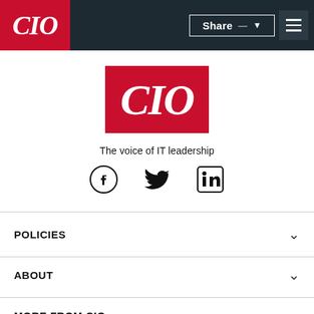CIO — The voice of IT leadership
[Figure (logo): CIO magazine logo — white italic serif text 'CIO' on red background, centered]
The voice of IT leadership
[Figure (illustration): Social media icons: Facebook, Twitter, LinkedIn]
POLICIES
ABOUT
MORE FROM CIO
DIGITAL MAGAZINE